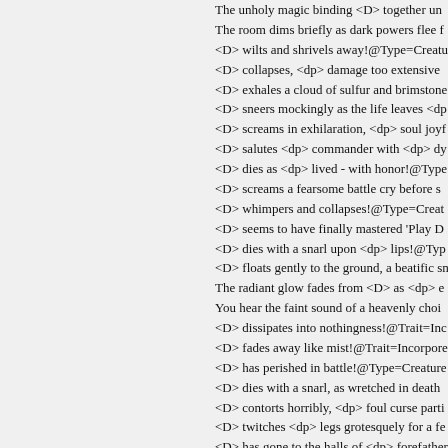The unholy magic binding <D> together un
The room dims briefly as dark powers flee f
<D> wilts and shrivels away!@Type=Creatu
<D> collapses, <dp> damage too extensive
<D> exhales a cloud of sulfur and brimstone
<D> sneers mockingly as the life leaves <dp
<D> screams in exhilaration, <dp> soul joyf
<D> salutes <dp> commander with <dp> dy
<D> dies as <dp> lived - with honor!@Type
<D> screams a fearsome battle cry before s
<D> whimpers and collapses!@Type=Creat
<D> seems to have finally mastered 'Play D
<D> dies with a snarl upon <dp> lips!@Typ
<D> floats gently to the ground, a beatific sm
The radiant glow fades from <D> as <dp> e
You hear the faint sound of a heavenly choi
<D> dissipates into nothingness!@Trait=Inc
<D> fades away like mist!@Trait=Incorpore
<D> has perished in battle!@Type=Creature
<D> dies with a snarl, as wretched in death
<D> contorts horribly, <dp> foul curse parti
<D> twitches <dp> legs grotesquely for a fe
<D> has gone to the halls of <dp> forefather
<D>'s scaly eyes close forevermore.@Type
<D> crumbles to the ground!@Type=Conju
<D> is demolished!@Type=Conjuration,Tra